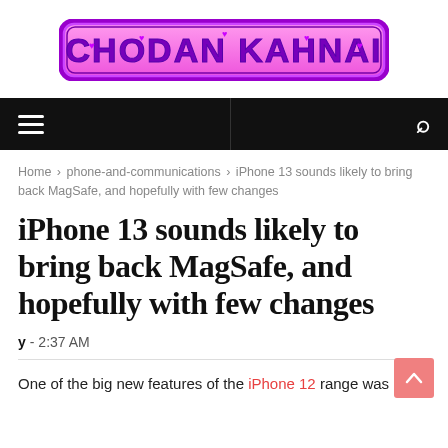CHODAN KAHNAI
Home > phone-and-communications > iPhone 13 sounds likely to bring back MagSafe, and hopefully with few changes
iPhone 13 sounds likely to bring back MagSafe, and hopefully with few changes
y - 2:37 AM
One of the big new features of the iPhone 12 range was